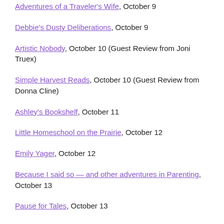Adventures of a Traveler's Wife, October 9
Debbie's Dusty Deliberations, October 9
Artistic Nobody, October 10 (Guest Review from Joni Truex)
Simple Harvest Reads, October 10 (Guest Review from Donna Cline)
Ashley's Bookshelf, October 11
Little Homeschool on the Prairie, October 12
Emily Yager, October 12
Because I said so — and other adventures in Parenting, October 13
Pause for Tales, October 13